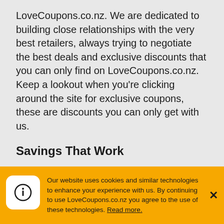LoveCoupons.co.nz. We are dedicated to building close relationships with the very best retailers, always trying to negotiate the best deals and exclusive discounts that you can only find on LoveCoupons.co.nz. Keep a lookout when you’re clicking around the site for exclusive coupons, these are discounts you can only get with us.
Savings That Work
We use a combination of cutting-edge technology and industry experience to ensure the deals we list are fully working. Check out for the Verified tag next to each offer for those that have been independently verified as working.
Our website uses cookies and similar technologies to enhance your experience with us. By continuing to use LoveCoupons.co.nz you agree to the use of these technologies. Read more.